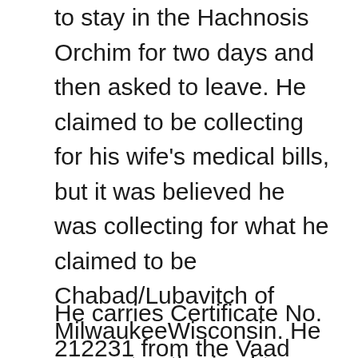to stay in the Hachnosis Orchim for two days and then asked to leave. He claimed to be collecting for his wife's medical bills, but it was believed he was collecting for what he claimed to be Chabad/Lubavitch of MilwaukeeWisconsin. He was not authorized to collect on behalf of Chabad/Lubavitch of MilwaukeeWisconsin.
He carries Certificate No. 212231 from the Vaad Harabonim Shlit"a of Florida